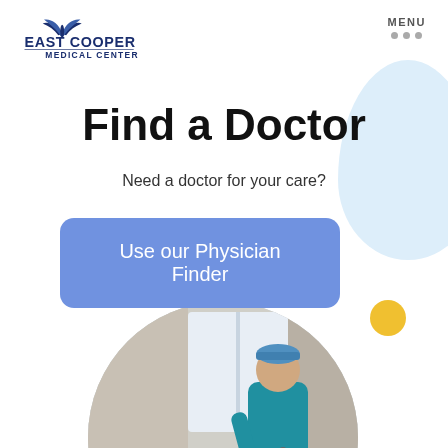[Figure (logo): East Cooper Medical Center logo with stylized leaf/wing symbol above text]
MENU
Find a Doctor
Need a doctor for your care?
Use our Physician Finder
[Figure (photo): Circular cropped photo of a doctor in teal scrubs and surgical cap speaking with a smiling female patient lying in a hospital bed]